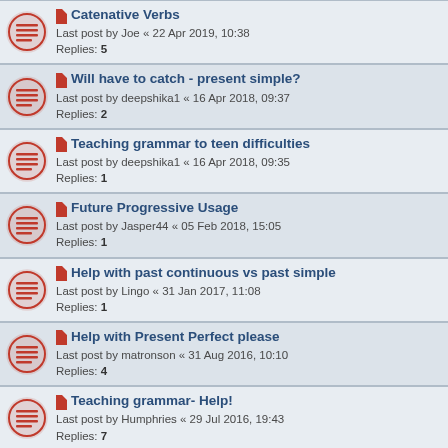Catenative Verbs
Last post by Joe « 22 Apr 2019, 10:38
Replies: 5
Will have to catch - present simple?
Last post by deepshika1 « 16 Apr 2018, 09:37
Replies: 2
Teaching grammar to teen difficulties
Last post by deepshika1 « 16 Apr 2018, 09:35
Replies: 1
Future Progressive Usage
Last post by Jasper44 « 05 Feb 2018, 15:05
Replies: 1
Help with past continuous vs past simple
Last post by Lingo « 31 Jan 2017, 11:08
Replies: 1
Help with Present Perfect please
Last post by matronson « 31 Aug 2016, 10:10
Replies: 4
Teaching grammar- Help!
Last post by Humphries « 29 Jul 2016, 19:43
Replies: 7
Help!
Last post by Lola212 « 24 Apr 2016, 17:18
Replies: 2
help with "there to be + that" structure
Last post by keith « 08 Mar 2016, 13:47
Replies: 2
Student mixes tenses - How to correct them?